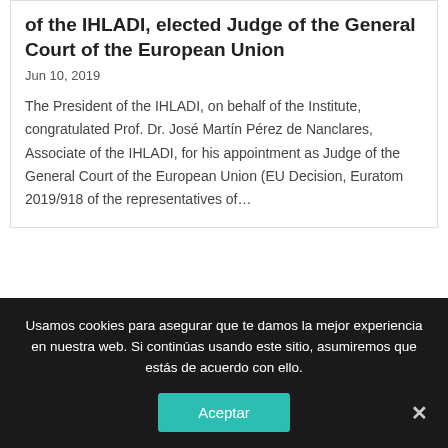of the IHLADI, elected Judge of the General Court of the European Union
Jun 10, 2019
The President of the IHLADI, on behalf of the Institute, congratulated Prof. Dr. José Martín Pérez de Nanclares, Associate of the IHLADI, for his appointment as Judge of the General Court of the European Union (EU Decision, Euratom 2019/918 of the representatives of...
[Figure (photo): Interior photo showing flags of various nations hanging in a formal hall with a chandelier visible in the background]
Usamos cookies para asegurar que te damos la mejor experiencia en nuestra web. Si continúas usando este sitio, asumiremos que estás de acuerdo con ello.
Aceptar